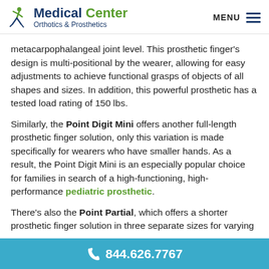Medical Center Orthotics & Prosthetics | MENU
metacarpophalangeal joint level. This prosthetic finger's design is multi-positional by the wearer, allowing for easy adjustments to achieve functional grasps of objects of all shapes and sizes. In addition, this powerful prosthetic has a tested load rating of 150 lbs.
Similarly, the Point Digit Mini offers another full-length prosthetic finger solution, only this variation is made specifically for wearers who have smaller hands. As a result, the Point Digit Mini is an especially popular choice for families in search of a high-functioning, high-performance pediatric prosthetic.
There's also the Point Partial, which offers a shorter prosthetic finger solution in three separate sizes for varying
844.626.7767